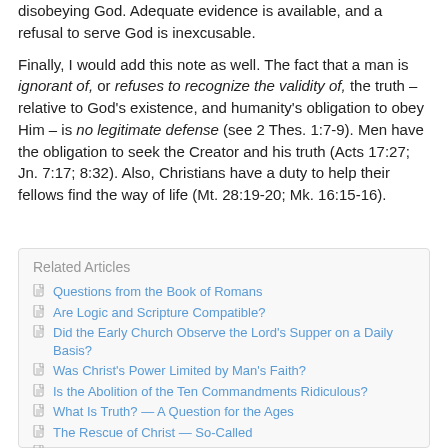disobeying God. Adequate evidence is available, and a refusal to serve God is inexcusable.
Finally, I would add this note as well. The fact that a man is ignorant of, or refuses to recognize the validity of, the truth – relative to God's existence, and humanity's obligation to obey Him – is no legitimate defense (see 2 Thes. 1:7-9). Men have the obligation to seek the Creator and his truth (Acts 17:27; Jn. 7:17; 8:32). Also, Christians have a duty to help their fellows find the way of life (Mt. 28:19-20; Mk. 16:15-16).
Related Articles
Questions from the Book of Romans
Are Logic and Scripture Compatible?
Did the Early Church Observe the Lord's Supper on a Daily Basis?
Was Christ's Power Limited by Man's Faith?
Is the Abolition of the Ten Commandments Ridiculous?
What Is Truth? — A Question for the Ages
The Rescue of Christ — So-Called
Will Everyone Go to Heaven?